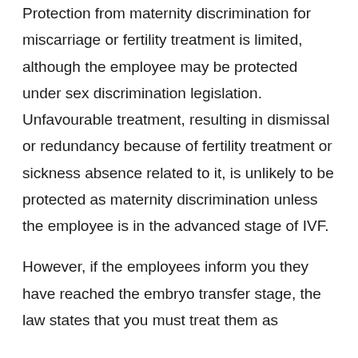Protection from maternity discrimination for miscarriage or fertility treatment is limited, although the employee may be protected under sex discrimination legislation. Unfavourable treatment, resulting in dismissal or redundancy because of fertility treatment or sickness absence related to it, is unlikely to be protected as maternity discrimination unless the employee is in the advanced stage of IVF.
However, if the employees inform you they have reached the embryo transfer stage, the law states that you must treat them as